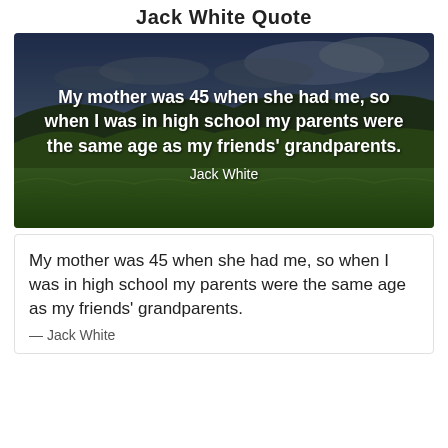Jack White Quote
[Figure (photo): Scenic landscape photo with green hills, meadow, and dramatic cloudy sky used as background for a quote overlay. White text reads: 'My mother was 45 when she had me, so when I was in high school my parents were the same age as my friends' grandparents.' attributed to Jack White.]
My mother was 45 when she had me, so when I was in high school my parents were the same age as my friends' grandparents.
— Jack White